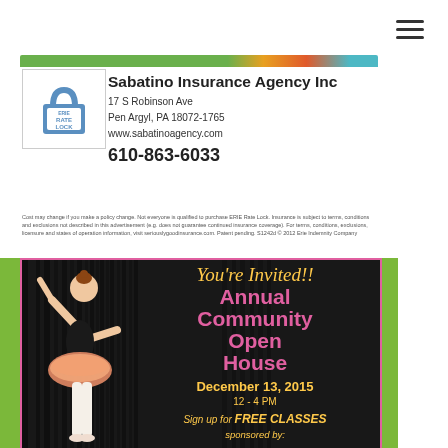[Figure (logo): Hamburger menu icon at top right]
[Figure (illustration): Erie Rate Lock logo with padlock icon and colored bar at top]
Sabatino Insurance Agency Inc
17 S Robinson Ave
Pen Argyl, PA 18072-1765
www.sabatinoagency.com
610-863-6033
Cost may change if you make a policy change. Not everyone is qualified to purchase ERIE Rate Lock. Insurance is subject to terms, conditions and exclusions not described in this advertisement (e.g. does not guarantee continued insurance coverage). For terms, conditions, exclusions, licensure and states of operation information, visit seriouslygoodinsurance.com. Patent pending. S1242d © 2012 Erie Indemnity Company
[Figure (illustration): Dance studio open house advertisement with a young girl in ballet outfit, dark curtain background, pink and gold text. You're Invited!! Annual Community Open House December 13, 2015 12-4 PM Sign up for FREE CLASSES sponsored by:]